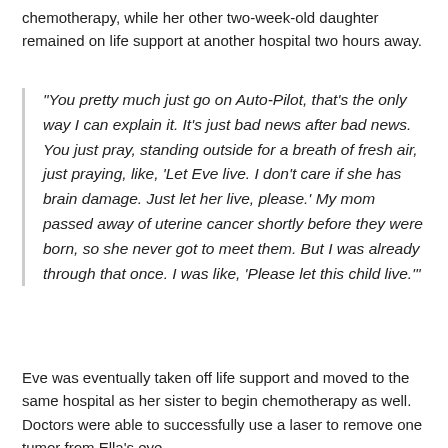chemotherapy, while her other two-week-old daughter remained on life support at another hospital two hours away.
“You pretty much just go on Auto-Pilot, that’s the only way I can explain it. It’s just bad news after bad news. You just pray, standing outside for a breath of fresh air, just praying, like, ‘Let Eve live. I don’t care if she has brain damage. Just let her live, please.’ My mom passed away of uterine cancer shortly before they were born, so she never got to meet them. But I was already through that once. I was like, ‘Please let this child live.’”
Eve was eventually taken off life support and moved to the same hospital as her sister to begin chemotherapy as well. Doctors were able to successfully use a laser to remove one tumor from Ella’s eye.